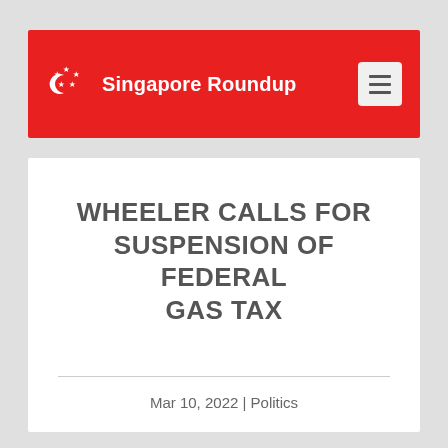[Figure (logo): Singapore Roundup website header with red background, Singapore flag crescent-and-stars icon, site name 'Singapore Roundup' in white, and a hamburger menu button on the right]
WHEELER CALLS FOR SUSPENSION OF FEDERAL GAS TAX
Mar 10, 2022 | Politics